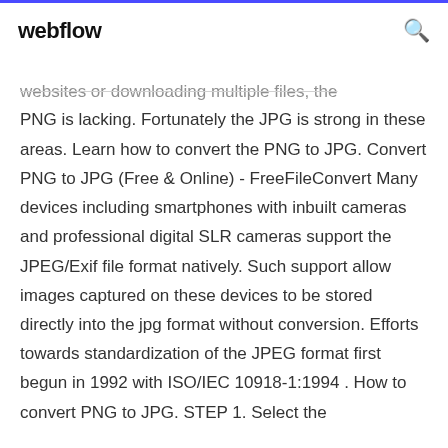webflow
websites or downloading multiple files, the PNG is lacking. Fortunately the JPG is strong in these areas. Learn how to convert the PNG to JPG. Convert PNG to JPG (Free & Online) - FreeFileConvert Many devices including smartphones with inbuilt cameras and professional digital SLR cameras support the JPEG/Exif file format natively. Such support allow images captured on these devices to be stored directly into the jpg format without conversion. Efforts towards standardization of the JPEG format first begun in 1992 with ISO/IEC 10918-1:1994 . How to convert PNG to JPG. STEP 1. Select the